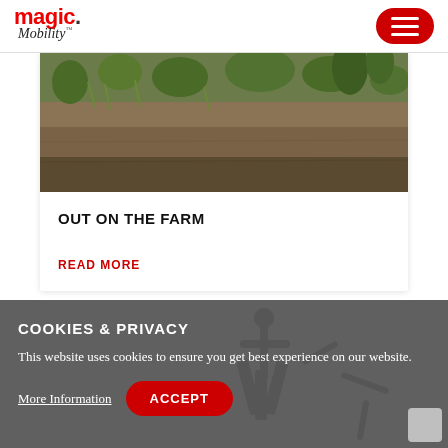[Figure (logo): Magic Mobility logo — 'magic' in red bold font with a dot, 'Mobility' in italic cursive below]
[Figure (other): Red rounded rectangle hamburger menu button with three white horizontal bars]
[Figure (photo): Farm garden photo showing soil, green plants and vegetation]
OUT ON THE FARM
READ MORE
COOKIES & PRIVACY
This website uses cookies to ensure you get best experience on our website.
More Information
ACCEPT